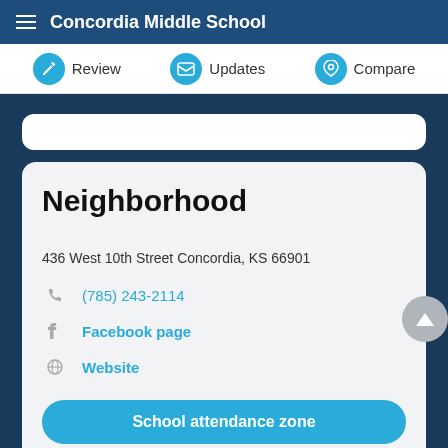Concordia Middle School
Review  Updates  Compare
Neighborhood
436 West 10th Street Concordia, KS 66901
(785) 243-2114
Facebook page
Website
School attendance zone
Nearby homes